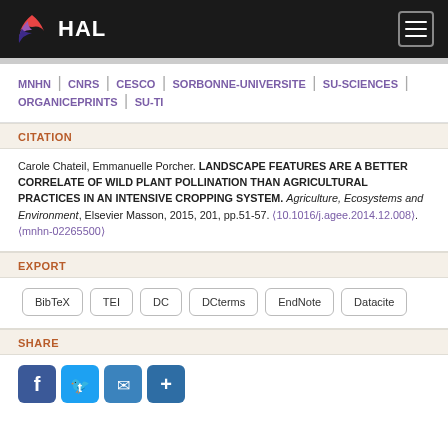HAL
MNHN | CNRS | CESCO | SORBONNE-UNIVERSITE | SU-SCIENCES | ORGANICEPRINTS | SU-TI
CITATION
Carole Chateil, Emmanuelle Porcher. LANDSCAPE FEATURES ARE A BETTER CORRELATE OF WILD PLANT POLLINATION THAN AGRICULTURAL PRACTICES IN AN INTENSIVE CROPPING SYSTEM. Agriculture, Ecosystems and Environment, Elsevier Masson, 2015, 201, pp.51-57. ⟨10.1016/j.agee.2014.12.008⟩. ⟨mnhn-02265500⟩
EXPORT
BibTeX
TEI
DC
DCterms
EndNote
Datacite
SHARE